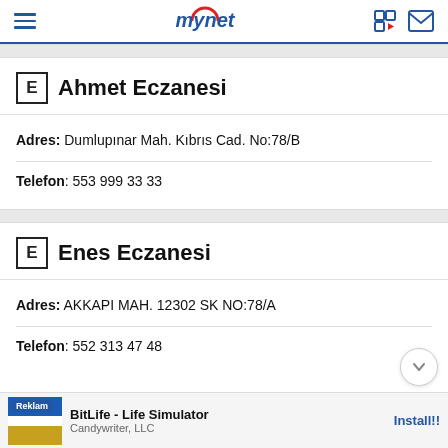mynet
E Ahmet Eczanesi
Adres: Dumlupınar Mah. Kıbrıs Cad. No:78/B
Telefon: 553 999 33 33
E Enes Eczanesi
Adres: AKKAPI MAH. 12302 SK NO:78/A
Telefon: 552 313 47 48
Reklam BitLife - Life Simulator Candywriter, LLC Install!!